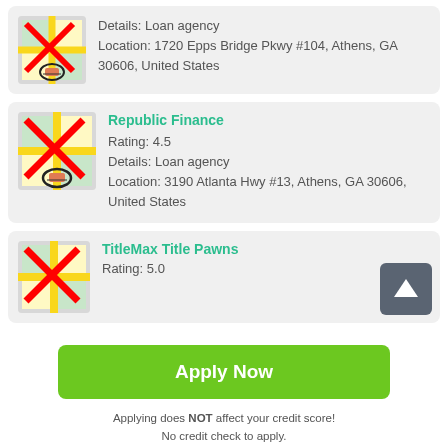[Figure (other): Map marker icon with red X overlay and pencil/pen tool at bottom]
Details: Loan agency
Location: 1720 Epps Bridge Pkwy #104, Athens, GA 30606, United States
[Figure (other): Map marker icon with red X overlay and pencil/pen tool at bottom]
Republic Finance
Rating: 4.5
Details: Loan agency
Location: 3190 Atlanta Hwy #13, Athens, GA 30606, United States
[Figure (other): Map marker icon with red X overlay]
TitleMax Title Pawns
Rating: 5.0
Apply Now
Applying does NOT affect your credit score!
No credit check to apply.